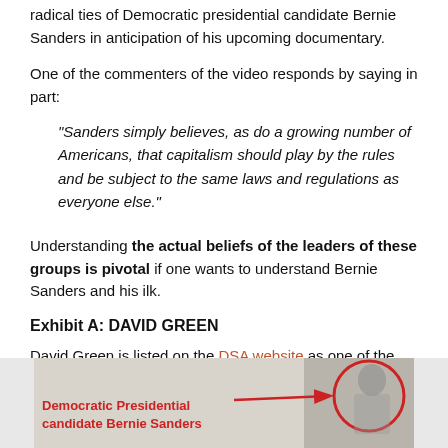radical ties of Democratic presidential candidate Bernie Sanders in anticipation of his upcoming documentary.
One of the commenters of the video responds by saying in part:
“Sanders simply believes, as do a growing number of Americans, that capitalism should play by the rules and be subject to the same laws and regulations as everyone else.”
Understanding the actual beliefs of the leaders of these groups is pivotal if one wants to understand Bernie Sanders and his ilk.
Exhibit A: DAVID GREEN
David Green is listed on the DSA website as one of the “National Political Committee Members” for 2015-17. David Green is pictured here with Bernie Sanders:
[Figure (photo): Screenshot of an image showing Democratic Presidential candidate Bernie Sanders with a red circle highlighting a person and a red arrow pointing to them, with red text reading 'Democratic Presidential candidate Bernie Sanders']